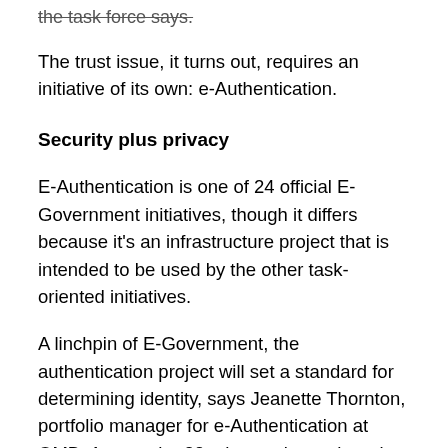the task force says.
The trust issue, it turns out, requires an initiative of its own: e-Authentication.
Security plus privacy
E-Authentication is one of 24 official E-Government initiatives, though it differs because it’s an infrastructure project that is intended to be used by the other task-oriented initiatives.
A linchpin of E-Government, the authentication project will set a standard for determining identity, says Jeanette Thornton, portfolio manager for e-Authentication at OMB. Among the 22 other projects, there is a need for such features as access control and digital signature support to ensure secure communications and transactions. Rather than